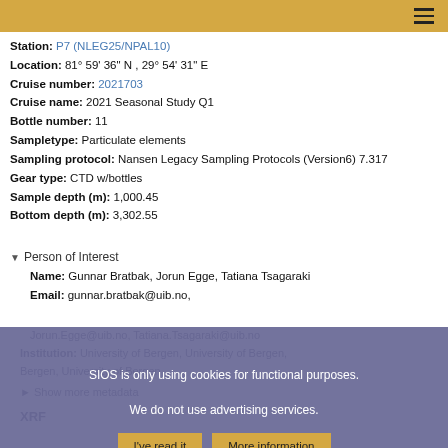Station: P7 (NLEG25/NPAL10)
Location: 81° 59' 36" N , 29° 54' 31" E
Cruise number: 2021703
Cruise name: 2021 Seasonal Study Q1
Bottle number: 11
Sampletype: Particulate elements
Sampling protocol: Nansen Legacy Sampling Protocols (Version6) 7.317
Gear type: CTD w/bottles
Sample depth (m): 1,000.45
Bottom depth (m): 3,302.55
▼ Person of Interest
Name: Gunnar Bratbak, Jorun Egge, Tatiana Tsagaraki
Email: gunnar.bratbak@uib.no, Jorun.Egge@uib.no, Tatiana.Tsagaraki@uib.no
Institution: University of Bergen, University of Bergen, University of Bergen
► Show more metadata
XRF
SIOS is only using cookies for functional purposes.
We do not use advertising services.
I've read it
More information